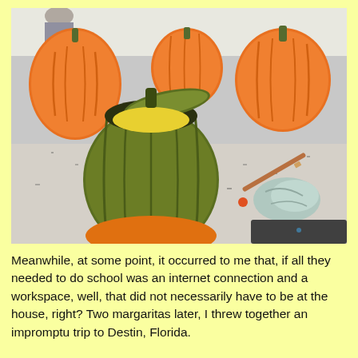[Figure (photo): A photo of several pumpkins on a granite kitchen countertop. One large pumpkin in the center is green and has been carved open at the top (its lid is partially off showing yellow interior). Surrounding it are several orange pumpkins. A metallic tool (orange-tipped) and a light blue cloth are visible to the right. A person is partially visible in the background. A dark appliance is visible at the bottom right.]
Meanwhile, at some point, it occurred to me that, if all they needed to do school was an internet connection and a workspace, well, that did not necessarily have to be at the house, right? Two margaritas later, I threw together an impromptu trip to Destin, Florida.